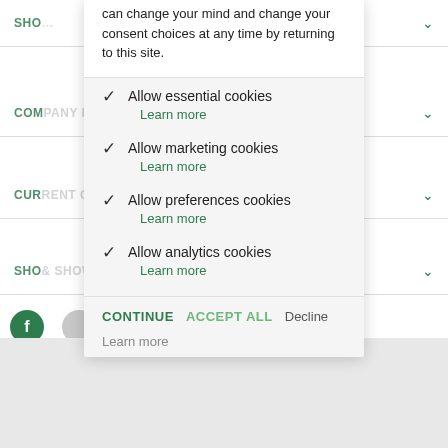can change your mind and change your consent choices at any time by returning to this site.
✓ Allow essential cookies
Learn more
✓ Allow marketing cookies
Learn more
✓ Allow preferences cookies
Learn more
✓ Allow analytics cookies
Learn more
CONTINUE   ACCEPT ALL   Decline
Learn more